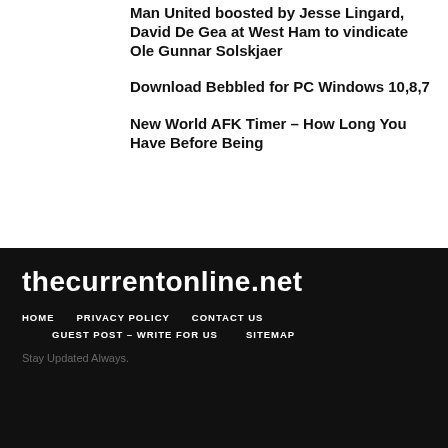Man United boosted by Jesse Lingard, David De Gea at West Ham to vindicate Ole Gunnar Solskjaer
Download Bebbled for PC Windows 10,8,7
New World AFK Timer – How Long You Have Before Being
thecurrentonline.net
HOME   PRIVACY POLICY   CONTACT US
GUEST POST – WRITE FOR US   SITEMAP
Stay Updated Always.